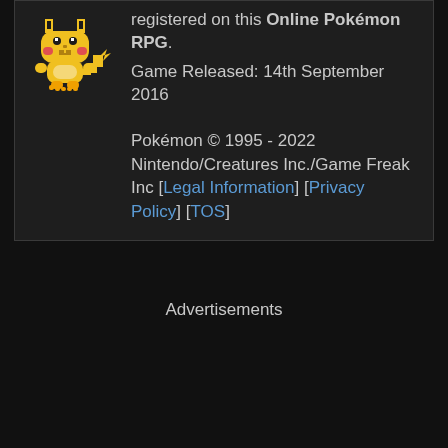registered on this Online Pokémon RPG. Game Released: 14th September 2016
[Figure (illustration): Pixel art sprite of Pikachu (yellow electric mouse Pokémon) facing slightly left]
Pokémon © 1995 - 2022 Nintendo/Creatures Inc./Game Freak Inc [Legal Information] [Privacy Policy] [TOS]
Advertisements